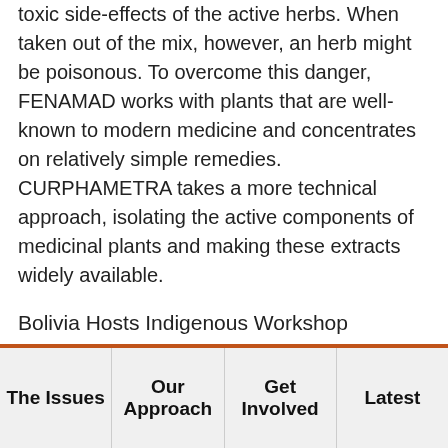toxic side-effects of the active herbs. When taken out of the mix, however, an herb might be poisonous. To overcome this danger, FENAMAD works with plants that are well-known to modern medicine and concentrates on relatively simple remedies. CURPHAMETRA takes a more technical approach, isolating the active components of medicinal plants and making these extracts widely available.
Bolivia Hosts Indigenous Workshop
The Second Internmerican Indigenous Congress on Natural Resources and Environment, sponsored by Cultural Survival, the World Wildlife Fund, the Inter-American Foundation, and other funders, took place in
The Issues | Our Approach | Get Involved | Latest